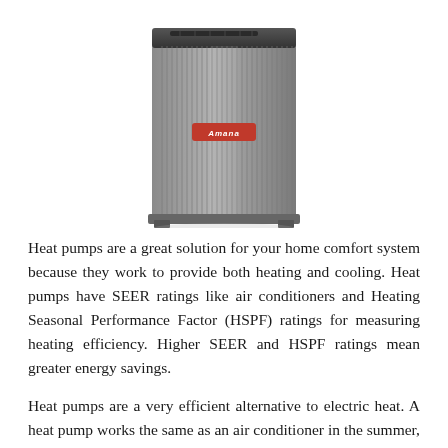[Figure (photo): Photograph of an Amana brand outdoor heat pump / air conditioning unit — a rectangular gray metal cabinet with vertical louvered grilles, a top fan grille, and a red Amana logo badge on the front]
Heat pumps are a great solution for your home comfort system because they work to provide both heating and cooling. Heat pumps have SEER ratings like air conditioners and Heating Seasonal Performance Factor (HSPF) ratings for measuring heating efficiency. Higher SEER and HSPF ratings mean greater energy savings.
Heat pumps are a very efficient alternative to electric heat. A heat pump works the same as an air conditioner in the summer, but it runs in reverse in the winter to heat your home. The system will be